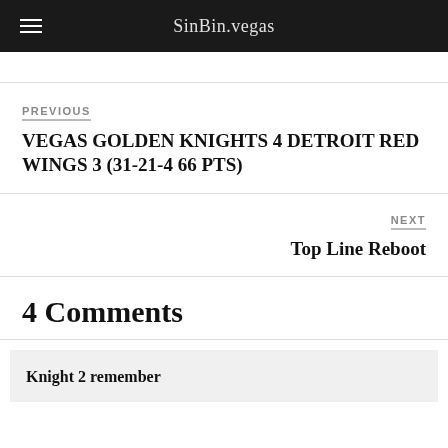SinBin.vegas
PREVIOUS
VEGAS GOLDEN KNIGHTS 4 DETROIT RED WINGS 3 (31-21-4 66 PTS)
NEXT
Top Line Reboot
4 Comments
Knight 2 remember